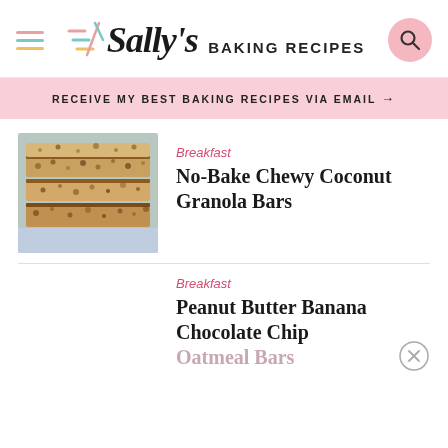Sally's Baking Recipes
RECEIVE MY BEST BAKING RECIPES VIA EMAIL →
Breakfast
No-Bake Chewy Coconut Granola Bars
[Figure (photo): Stack of chewy coconut granola bars with chocolate chips, photographed on a light background]
Breakfast
Peanut Butter Banana Chocolate Chip Oatmeal Bars